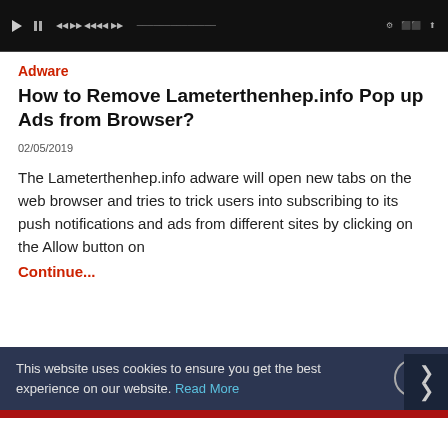[Figure (screenshot): Video player toolbar showing playback controls on a dark background]
Adware
How to Remove Lameterthenhep.info Pop up Ads from Browser?
02/05/2019
The Lameterthenhep.info adware will open new tabs on the web browser and tries to trick users into subscribing to its push notifications and ads from different sites by clicking on the Allow button on
Continue...
This website uses cookies to ensure you get the best experience on our website. Read More